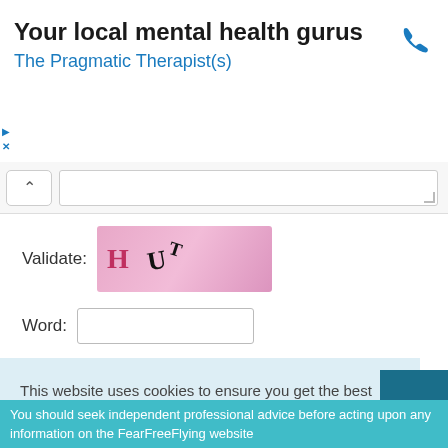[Figure (screenshot): Advertisement banner: 'Your local mental health gurus' heading with 'The Pragmatic Therapist(s)' blue subtitle and phone icon on the right]
[Figure (screenshot): UI collapse button (chevron up) and text input field with resize handle]
Validate:
[Figure (screenshot): CAPTCHA image with pink gradient background showing letters H, U, T in distorted form]
Word:
[Figure (screenshot): Empty text input field for entering CAPTCHA word]
This website uses cookies to ensure you get the best experience on our website.
Cookie Policy
Got it!
You should seek independent professional advice before acting upon any information on the FearFreeFlying website